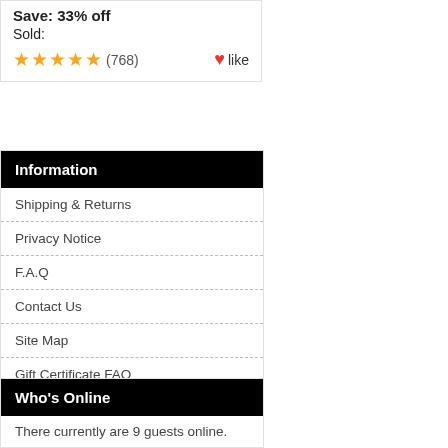Save: 33% off
Sold:
★★★★★ (768) ❤like
Information
Shipping & Returns
Privacy Notice
F.A.Q
Contact Us
Site Map
Gift Certificate FAQ
Discount Coupons
Newsletter Unsubscribe
Who's Online
There currently are 9 guests online.